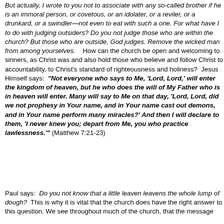But actually, I wrote to you not to associate with any so-called brother if he is an immoral person, or covetous, or an idolater, or a reviler, or a drunkard, or a swindler—not even to eat with such a one. For what have I to do with judging outsiders? Do you not judge those who are within the church? But those who are outside, God judges. Remove the wicked man from among yourselves.    How can the church be open and welcoming to sinners, as Christ was and also hold those who believe and follow Christ to accountability, to Christ's standard of righteousness and holiness?  Jesus Himself says:  "Not everyone who says to Me, 'Lord, Lord,' will enter the kingdom of heaven, but he who does the will of My Father who is in heaven will enter. Many will say to Me on that day, 'Lord, Lord, did we not prophesy in Your name, and in Your name cast out demons, and in Your name perform many miracles?' And then I will declare to them, 'I never knew you; depart from Me, you who practice lawlessness.'" (Matthew 7:21-23)
Paul says:  Do you not know that a little leaven leavens the whole lump of dough?  This is why it is vital that the church does have the right answer to this question. We see throughout much of the church, that the message